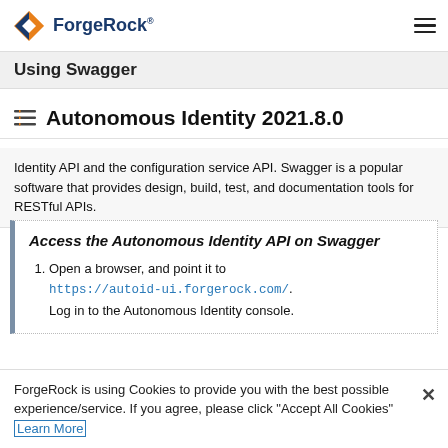ForgeRock
Using Swagger
Autonomous Identity 2021.8.0
Identity API and the configuration service API. Swagger is a popular software that provides design, build, test, and documentation tools for RESTful APIs.
Access the Autonomous Identity API on Swagger
Open a browser, and point it to https://autoid-ui.forgerock.com/ . Log in to the Autonomous Identity console.
ForgeRock is using Cookies to provide you with the best possible experience/service. If you agree, please click "Accept All Cookies" Learn More